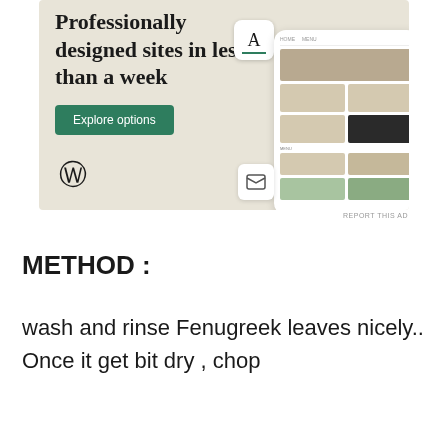[Figure (screenshot): WordPress advertisement banner with beige background showing 'Professionally designed sites in less than a week' headline, green 'Explore options' button, WordPress logo, and mockup UI screens of a food website]
REPORT THIS AD
METHOD :
wash and rinse Fenugreek leaves nicely.. Once it get bit dry , chop